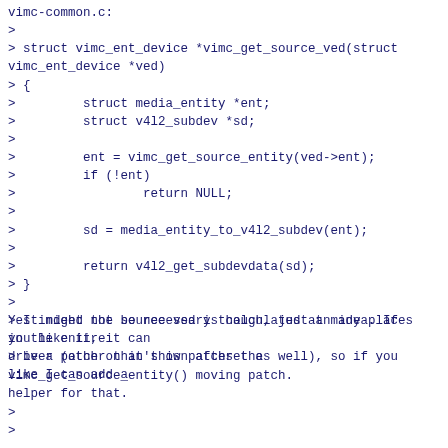vimc-common.c:
>
> struct vimc_ent_device *vimc_get_source_ved(struct vimc_ent_device *ved)
> {
>         struct media_entity *ent;
>         struct v4l2_subdev *sd;
>
>         ent = vimc_get_source_entity(ved->ent);
>         if (!ent)
>                 return NULL;
>
>         sd = media_entity_to_v4l2_subdev(ent);
>
>         return v4l2_get_subdevdata(sd);
> }
>
> It might not be necessary though, just an idea. If you like it, it can
> be a patch on it's own after the vimc_get_source_entity() moving patch.
Yes indeed the source ved is calculated at many places in the entire
driver (other than this patchset as well), so if you like I can add a
helper for that.
>
>